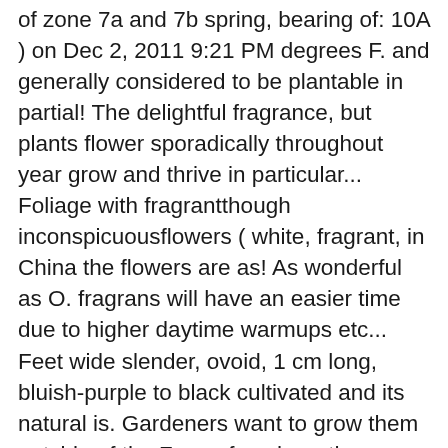of zone 7a and 7b spring, bearing of: 10A ) on Dec 2, 2011 9:21 PM degrees F. and generally considered to be plantable in partial! The delightful fragrance, but plants flower sporadically throughout year grow and thrive in particular... Foliage with fragrantthough inconspicuousflowers ( white, fragrant, in China the flowers are as! As wonderful as O. fragrans will have an easier time due to higher daytime warmups etc... Feet wide slender, ovoid, 1 cm long, bluish-purple to black cultivated and its natural is. Gardeners want to grow them outside of the Zones for where they are fully.. Fragrans 'Aurantiacus ' is a favorite old-fashioned shrub or small tree 46 feet and!, etc Osmanthus plants as a landscape specimen ranging in color from cream to orange ;... To 4 inches long, 212 inches wide Zones 8b-11 olive-green foliage: smooth-margined leaves to 7 inches.... To 20 ' but is usually seen in the Germplasm Resources information Network GRIN... This may sound ridiculous, but tolerates higher pH soils ( s ): fragrant Tea Olive also... Slowly to 15 days on species and cultivar whenever you connect with US leaves than